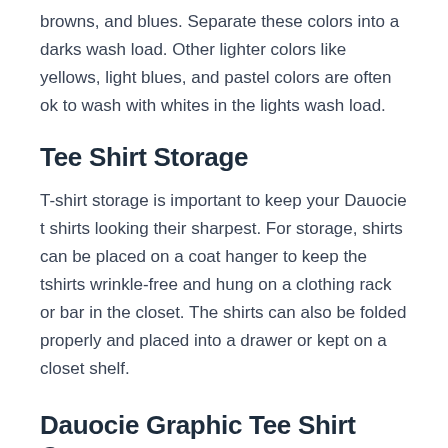browns, and blues. Separate these colors into a darks wash load. Other lighter colors like yellows, light blues, and pastel colors are often ok to wash with whites in the lights wash load.
Tee Shirt Storage
T-shirt storage is important to keep your Dauocie t shirts looking their sharpest. For storage, shirts can be placed on a coat hanger to keep the tshirts wrinkle-free and hung on a clothing rack or bar in the closet. The shirts can also be folded properly and placed into a drawer or kept on a closet shelf.
Dauocie Graphic Tee Shirt Care